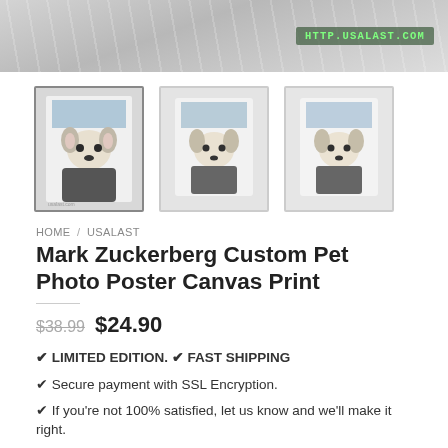[Figure (photo): Top banner with diagonal stripe texture and HTTP.USALAST.COM watermark overlay]
[Figure (photo): Three thumbnail product images showing a French Bulldog custom pet portrait on canvas print, styled as Mark Zuckerberg]
HOME / USALAST
Mark Zuckerberg Custom Pet Photo Poster Canvas Print
$38.99  $24.90
✔ LIMITED EDITION. ✔ FAST SHIPPING
✔ Secure payment with SSL Encryption.
✔ If you're not 100% satisfied, let us know and we'll make it right.